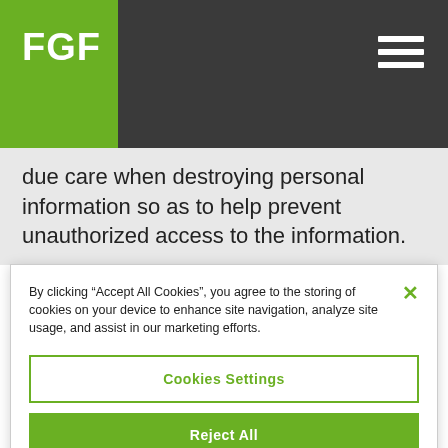[Figure (logo): FGF logo — white bold text on green square background, within dark grey header bar with hamburger menu icon on right]
due care when destroying personal information so as to help prevent unauthorized access to the information.
By clicking “Accept All Cookies”, you agree to the storing of cookies on your device to enhance site navigation, analyze site usage, and assist in our marketing efforts.
Cookies Settings
Reject All
Accept All Cookies